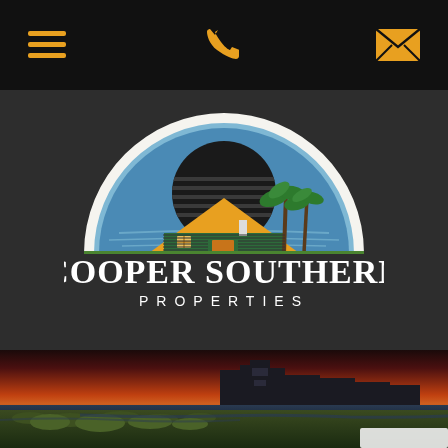[Figure (logo): Cooper Southern Properties logo with navigation bar - hamburger menu, phone and email icons in gold on black background]
[Figure (logo): Cooper Southern Properties circular logo with house, palm trees, water and sunset, with company name below]
[Figure (photo): Coastal sunset photograph showing marsh grasses in foreground, waterfront homes silhouetted against dramatic red-orange sunset sky]